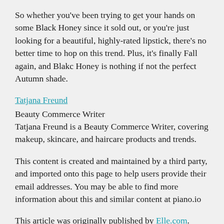So whether you've been trying to get your hands on some Black Honey since it sold out, or you're just looking for a beautiful, highly-rated lipstick, there's no better time to hop on this trend. Plus, it's finally Fall again, and Blakc Honey is nothing if not the perfect Autumn shade.
Tatjana Freund
Beauty Commerce Writer
Tatjana Freund is a Beauty Commerce Writer, covering makeup, skincare, and haircare products and trends.
This content is created and maintained by a third party, and imported onto this page to help users provide their email addresses. You may be able to find more information about this and similar content at piano.io
This article was originally published by Elle.com. Read the